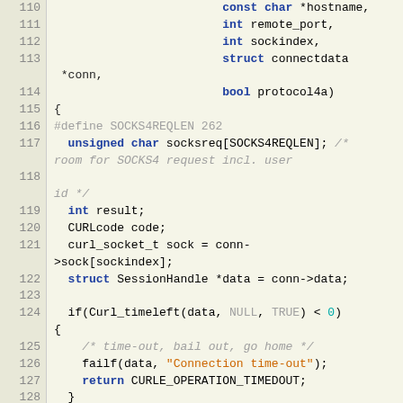[Figure (screenshot): Source code listing in C, lines 110-128, showing a function with parameters hostname, remote_port, sockindex, conn, protocol4a, with variable declarations and a timeout check.]